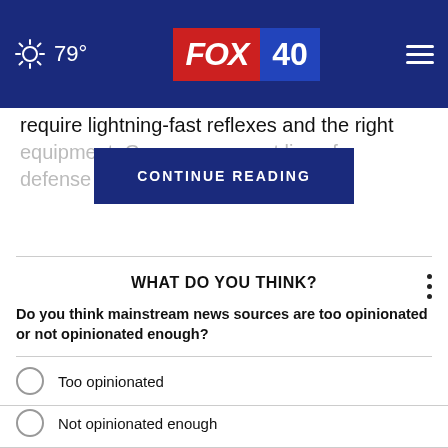79° FOX 40
require lightning-fast reflexes and the right equipment. Go rst line of defense hate ...ball
CONTINUE READING
WHAT DO YOU THINK?
Do you think mainstream news sources are too opinionated or not opinionated enough?
Too opinionated
Not opinionated enough
I'm not sure
Other / No opinion